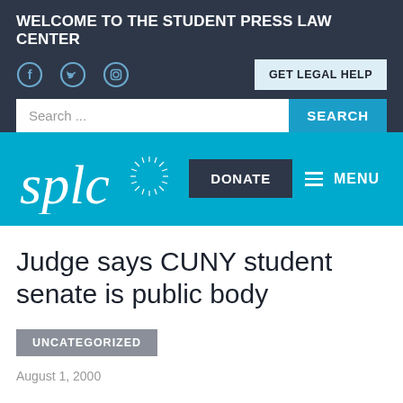WELCOME TO THE STUDENT PRESS LAW CENTER
[Figure (logo): SPLC logo on blue background]
Judge says CUNY student senate is public body
UNCATEGORIZED
August 1, 2000